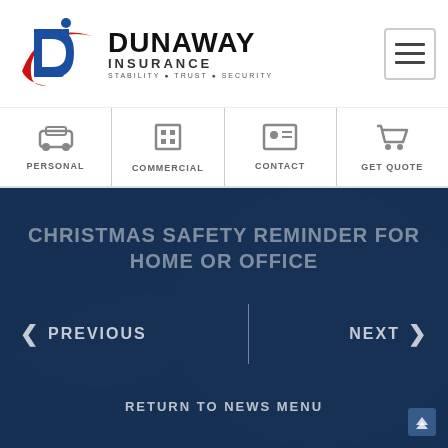[Figure (logo): Dunaway Insurance logo with red swoosh, blue letter D, and text: DUNAWAY INSURANCE - STABILITY • TRUST • SECURITY]
[Figure (other): Hamburger menu icon (three horizontal lines) in a rounded rectangle border]
PERSONAL
COMMERCIAL
CONTACT
GET QUOTE
CHRISTMAS SAFETY REMINDER FOR HOME OR OFFICE
< PREVIOUS
NEXT >
RETURN TO NEWS MENU